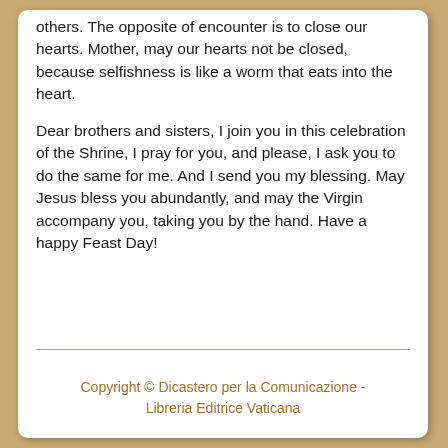others. The opposite of encounter is to close our hearts. Mother, may our hearts not be closed, because selfishness is like a worm that eats into the heart.
Dear brothers and sisters, I join you in this celebration of the Shrine, I pray for you, and please, I ask you to do the same for me. And I send you my blessing. May Jesus bless you abundantly, and may the Virgin accompany you, taking you by the hand. Have a happy Feast Day!
Copyright © Dicastero per la Comunicazione - Libreria Editrice Vaticana